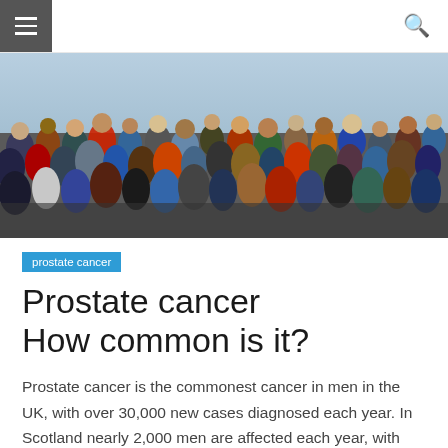[Figure (photo): A large crowd of people photographed from behind/above, showing a dense gathering with diverse clothing.]
prostate cancer
Prostate cancer
How common is it?
Prostate cancer is the commonest cancer in men in the UK, with over 30,000 new cases diagnosed each year. In Scotland nearly 2,000 men are affected each year, with 200 each year in Grampian. The incidence is rising, and the lifetime risk for men developing prostate cancer is 1 in 10. However, most prostate tumours are